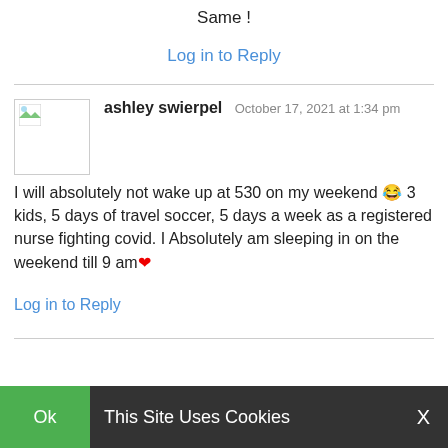Same !
Log in to Reply
ashley swierpel  October 17, 2021 at 1:34 pm
I will absolutely not wake up at 530 on my weekend 😂 3 kids, 5 days of travel soccer, 5 days a week as a registered nurse fighting covid. I Absolutely am sleeping in on the weekend till 9 am❤
Log in to Reply
Ok  This Site Uses Cookies  X